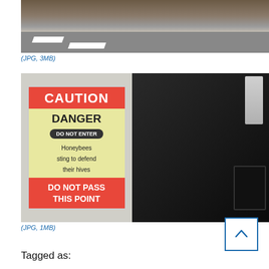[Figure (photo): Outdoor photo showing a parking area or road with white line markings, a chain-link fence, and brick wall in background]
(JPG, 3MB)
[Figure (photo): Composite photo: left side shows a red and yellow caution sign reading 'CAUTION / DANGER / DO NOT ENTER / Honeybees sting to defend their hives / DO NOT PASS THIS POINT'; right side shows a dark cluttered room with equipment and debris]
(JPG, 1MB)
Tagged as: